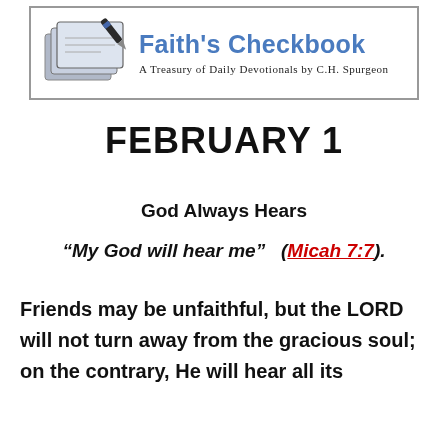[Figure (logo): Faith's Checkbook logo with a checkbook and pen illustration, title 'Faith's Checkbook' in blue bold text, subtitle 'A Treasury of Daily Devotionals by C.H. Spurgeon']
FEBRUARY 1
God Always Hears
“My God will hear me”  (Micah 7:7).
Friends may be unfaithful, but the LORD will not turn away from the gracious soul; on the contrary, He will hear all its